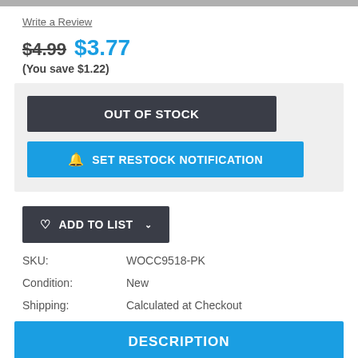Write a Review
$4.99  $3.77
(You save $1.22)
OUT OF STOCK
SET RESTOCK NOTIFICATION
ADD TO LIST
| SKU: | WOCC9518-PK |
| Condition: | New |
| Shipping: | Calculated at Checkout |
DESCRIPTION
*Product is brand new/factory